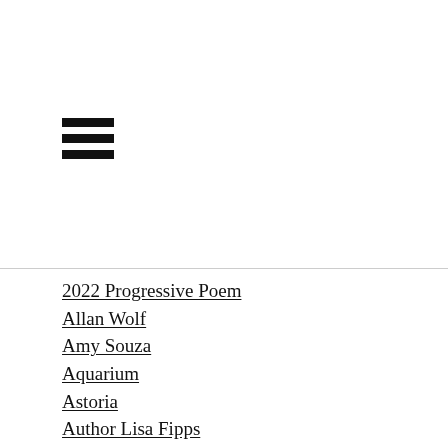[Figure (other): Hamburger menu icon with three horizontal black bars]
2022 Progressive Poem
Allan Wolf
Amy Souza
Aquarium
Astoria
Author Lisa Fipps
Autumn
Awards
Bees
Bells
Birds
Black History Month
Book Give Away
Book Quotes
Books
Bridges
Calendar
California